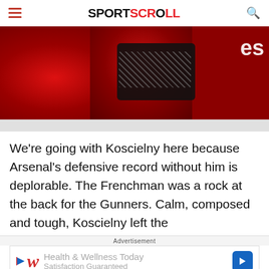SPORTSCROLL
[Figure (photo): Partial photo of a person wearing a bright red fluffy/fur coat and black sequined top. Text 'es' visible in top right corner of image.]
We're going with Koscielny here because Arsenal's defensive record without him is deplorable. The Frenchman was a rock at the back for the Gunners. Calm, composed and tough, Koscielny left the
Advertisement
[Figure (screenshot): Walgreens advertisement banner: 'Health & Wellness Today / Satisfaction Guaranteed']